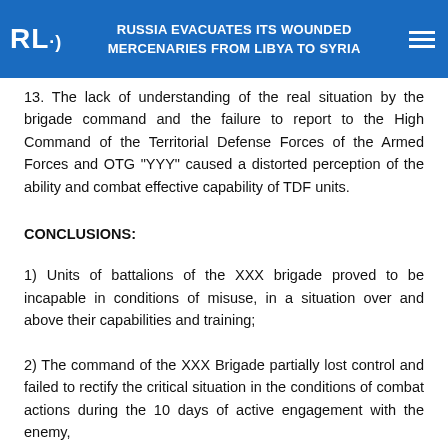RUSSIA EVACUATES ITS WOUNDED MERCENARIES FROM LIBYA TO SYRIA
13. The lack of understanding of the real situation by the brigade command and the failure to report to the High Command of the Territorial Defense Forces of the Armed Forces and OTG "YYY" caused a distorted perception of the ability and combat effective capability of TDF units.
CONCLUSIONS:
1) Units of battalions of the XXX brigade proved to be incapable in conditions of misuse, in a situation over and above their capabilities and training;
2) The command of the XXX Brigade partially lost control and failed to rectify the critical situation in the conditions of combat actions during the 10 days of active engagement with the enemy,